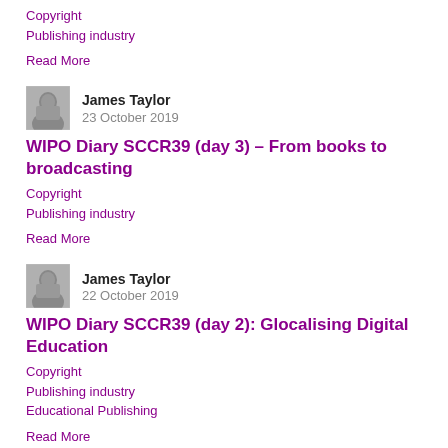Copyright
Publishing industry
Read More
James Taylor
23 October 2019
WIPO Diary SCCR39 (day 3) – From books to broadcasting
Copyright
Publishing industry
Read More
James Taylor
22 October 2019
WIPO Diary SCCR39 (day 2): Glocalising Digital Education
Copyright
Publishing industry
Educational Publishing
Read More